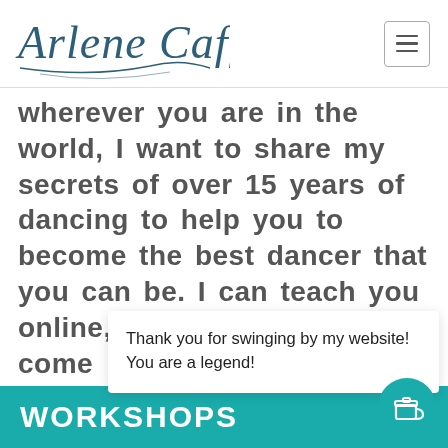[Figure (logo): Arlene Caffrey script logo in teal/dark blue cursive font]
wherever you are in the world, I want to share my secrets of over 15 years of dancing to help you to become the best dancer that you can be. I can teach you online, or I can come to for work
Thank you for swinging by my website! You are a legend!
WORKSHOPS